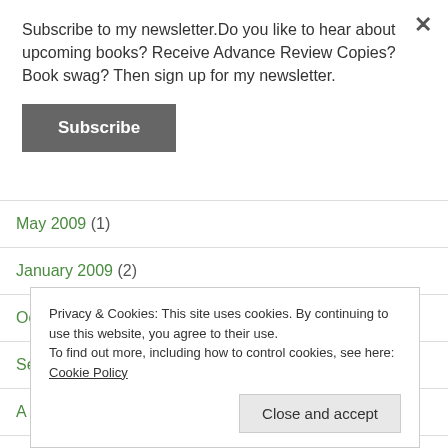Subscribe to my newsletter.Do you like to hear about upcoming books? Receive Advance Review Copies? Book swag? Then sign up for my newsletter.
Subscribe
May 2009 (1)
January 2009 (2)
October 2008 (1)
September 2008 (9)
Privacy & Cookies: This site uses cookies. By continuing to use this website, you agree to their use. To find out more, including how to control cookies, see here: Cookie Policy
Close and accept